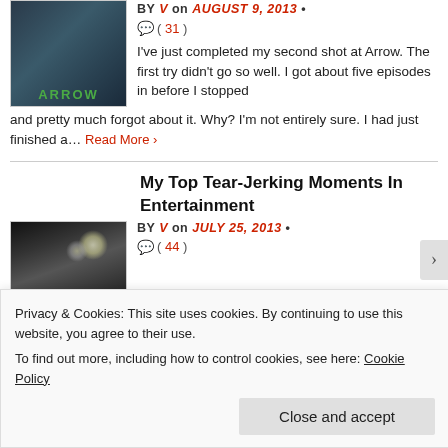[Figure (photo): Arrow TV show promotional image showing a shirtless man with a bow and quiver, with the word ARROW in green at the bottom]
BY V on AUGUST 9, 2013 • ( 31 )
I've just completed my second shot at Arrow. The first try didn't go so well. I got about five episodes in before I stopped and pretty much forgot about it. Why? I'm not entirely sure. I had just finished a... Read More ›
[Figure (photo): Dark image of a man in a blue suit with light orbs/bokeh in background]
My Top Tear-Jerking Moments In Entertainment
BY V on JULY 25, 2013 • ( 44 )
Privacy & Cookies: This site uses cookies. By continuing to use this website, you agree to their use.
To find out more, including how to control cookies, see here: Cookie Policy
Close and accept